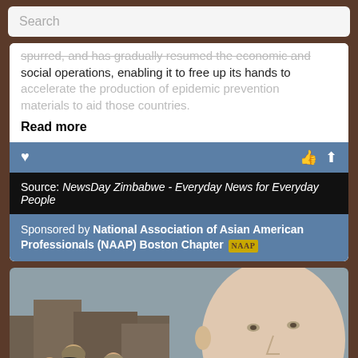Search
spurred, and has gradually resumed the economic and social operations, enabling it to free up its hands to accelerate the production of epidemic prevention materials to aid those countries.
Read more
Source: NewsDay Zimbabwe - Everyday News for Everyday People
Sponsored by National Association of Asian American Professionals (NAAP) Boston Chapter NAAP
[Figure (photo): Composite news image showing armed militant fighters in the background and a close-up of a bald man in a suit with a red tie (resembling Vladimir Putin) in the foreground, with a circular inset showing a flag with Arabic script.]